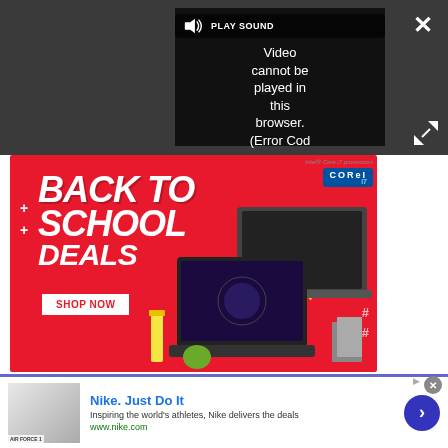[Figure (screenshot): Video player showing error message: 'Video cannot be played in this browser. (Error Cod' with PLAY SOUND control and close/expand buttons on dark background]
[Figure (infographic): MSI Back to School Deals advertisement banner on red background featuring laptops, yellow arrows, SHOP NOW button, and Intel Core i7 processors badge]
[Figure (infographic): Nike Just Do It advertisement with thumbnail image of Air Force 1 sneaker, title 'Nike. Just Do It', description 'Inspiring the world's athletes, Nike delivers the deals', URL www.nike.com, and arrow button]